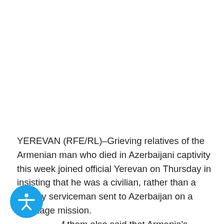YEREVAN (RFE/RL)–Grieving relatives of the Armenian man who died in Azerbaijani captivity this week joined official Yerevan on Thursday in insisting that he was a civilian, rather than a military serviceman sent to Azerbaijan on a sabotage mission. f them also said that Armenia's government did not ugh to free and repatriate Manvel Saribekian before he was found hanged in an Azerbaijani detention facility